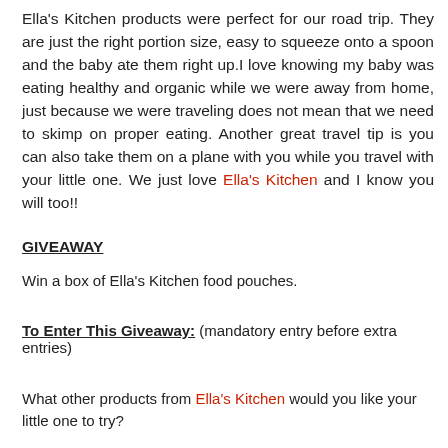Ella's Kitchen products were perfect for our road trip. They are just the right portion size, easy to squeeze onto a spoon and the baby ate them right up.I love knowing my baby was eating healthy and organic while we were away from home, just because we were traveling does not mean that we need to skimp on proper eating. Another great travel tip is you can also take them on a plane with you while you travel with your little one. We just love Ella's Kitchen and I know you will too!!
GIVEAWAY
Win a box of Ella's Kitchen food pouches.
To Enter This Giveaway: (mandatory entry before extra entries)
What other products from Ella's Kitchen would you like your little one to try?